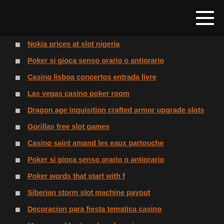Nokia prices at slot nigeria
Poker si gioca senso orario o antiorario
Casino lisboa concertos entrada livre
Las vegas casino poker room
Dragon age inquisition crafted armor upgrade slots
Gorillas free slot games
Casino saint amand les eaux partouche
Poker si gioca senso orario o antiorario
Poker words that start with f
Siberian storm slot machine payout
Decoracion para fiesta tematica casino
Mgm grand ho tram beach casino
Memory slots ecc disabled upgradeable memory no
Closest casino to san dimas california